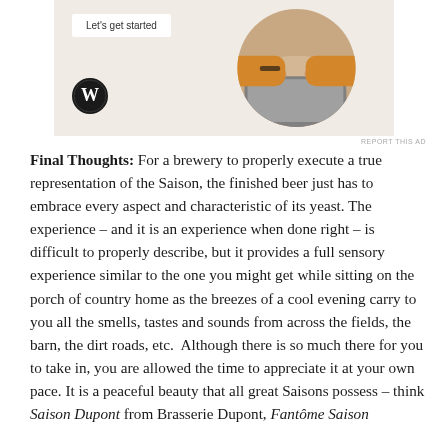[Figure (screenshot): Advertisement banner with WordPress logo on a beige background, showing a 'Let's get started' button on the left side and a circular photo of a person typing on a laptop on the right side.]
REPORT THIS AD
Final Thoughts:  For a brewery to properly execute a true representation of the Saison, the finished beer just has to embrace every aspect and characteristic of its yeast.  The experience – and it is an experience when done right – is difficult to properly describe, but it provides a full sensory experience similar to the one you might get while sitting on the porch of country home as the breezes of a cool evening carry to you all the smells, tastes and sounds from across the fields, the barn, the dirt roads, etc.  Although there is so much there for you to take in, you are allowed the time to appreciate it at your own pace.  It is a peaceful beauty that all great Saisons possess – think Saison Dupont from Brasserie Dupont, Fantôme Saison